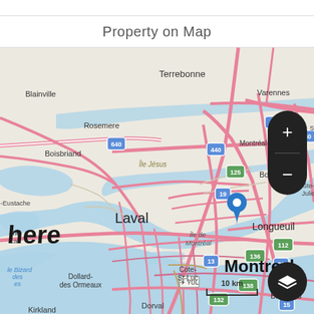Property on Map
[Figure (map): Street map of Montreal and surrounding region (Laval, Longueuil, Boucherville, Terrebonne, Varennes, Dorval, Brossard, La Prairie, St-Constant, Rosemere, Blainville, Boisbriand, Kirkland, Dollard-des Ormeaux) with a blue location pin marker placed on central Montreal/Île de Montréal area. Map shows highway routes (640, 440, 40, 30, 125, 19, 13, 20, 112, 136, 138, 132, 15) and water bodies including the St. Lawrence River (Fleuve St-Laurent). Map has zoom controls (+/-) and layer control buttons on the right side, and a 10 km scale bar. HERE maps watermark in bottom left.]